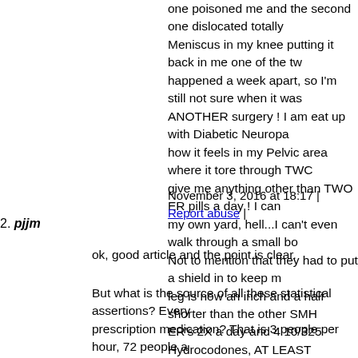one poisoned me and the second one dislocated totally Meniscus in my knee putting it back in me one of the two happened a week apart, so I'm still not sure when it was ANOTHER surgery ! I am eat up with Diabetic Neuropa how it feels in my Pelvic area where it tore through TWO give me anything other than TWO ER pills a day ! I can my own yard, hell...I can't even walk through a small bo Not to mention that they had to put a shield in to keep m leg is now an inch and a half shorter than the other SMH ER's 2X a day and 4 10/325 Hydrocodones, AT LEAST WHAT ABOUT THOSE OF US BEING LEFT BEHIN OF IDIOTS ?
November 3, 2016 at 18:17 | Report abuse |
2. pjjm
ok, good article and the point is clear.
But what is the source of all these statistical assertions? Every prescription medication? That is 3 people per hour, 72 people a 26,280 people per year. Another book asserts that 100,000 Am prescription meds a year, without any supporting authority. Th that there is more domestic abuse on the day of super bowl sur year. There was no authority to support such an assertion. It is as high as asserted - but a bit of evidence or citing to actual aut